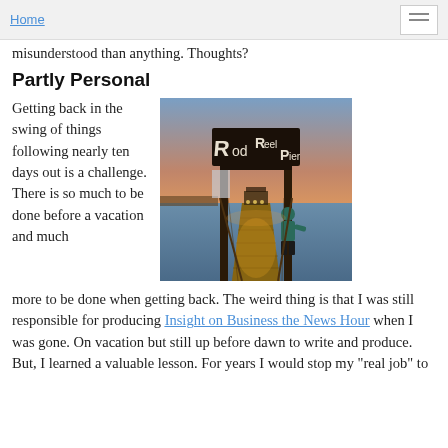Home
misunderstood than anything. Thoughts?
Partly Personal
Getting back in the swing of things following nearly ten days out is a challenge. There is so much to be done before a vacation and much more to be done when getting back. The weird thing is that I was still responsible for producing Insight on Business the News Hour when I was gone. On vacation but still up before dawn to write and produce. But, I learned a valuable lesson. For years I would stop my "real job" to
[Figure (photo): Photo of Rod Reel Pier sign at sunset with a person standing underneath and a pier extending into the water in the background]